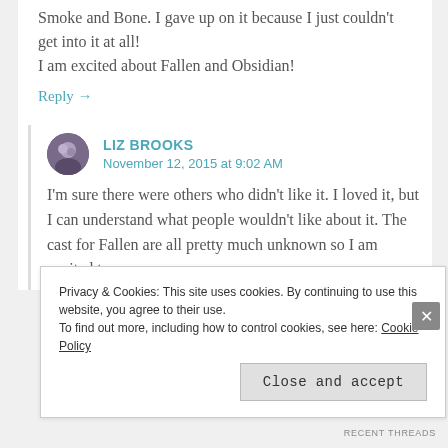Smoke and Bone. I gave up on it because I just couldn't get into it at all!
I am excited about Fallen and Obsidian!
Reply →
LIZ BROOKS
November 12, 2015 at 9:02 AM
I'm sure there were others who didn't like it. I loved it, but I can understand what people wouldn't like about it. The cast for Fallen are all pretty much unknown so I am excited to see
Privacy & Cookies: This site uses cookies. By continuing to use this website, you agree to their use.
To find out more, including how to control cookies, see here: Cookie Policy
Close and accept